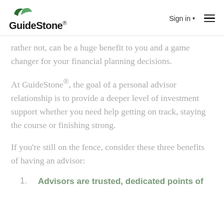GuideStone — Sign in
rather not, can be a huge benefit to you and a game changer for your financial planning decisions.
At GuideStone®, the goal of a personal advisor relationship is to provide a deeper level of investment support whether you need help getting on track, staying the course or finishing strong.
If you're still on the fence, consider these three benefits of having an advisor:
Advisors are trusted, dedicated points of